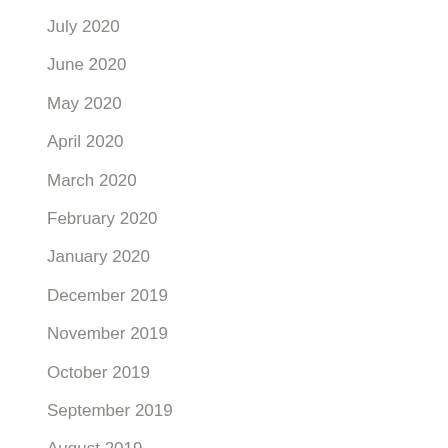July 2020
June 2020
May 2020
April 2020
March 2020
February 2020
January 2020
December 2019
November 2019
October 2019
September 2019
August 2019
July 2019
June 2019
May 2019